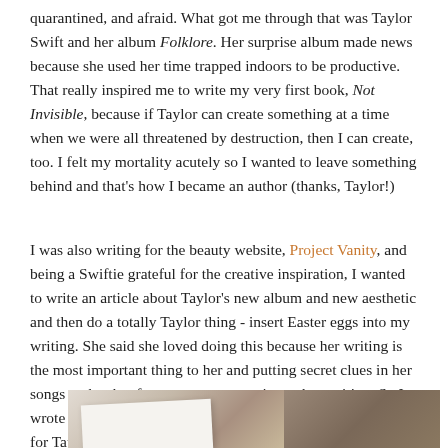quarantined, and afraid. What got me through that was Taylor Swift and her album Folklore. Her surprise album made news because she used her time trapped indoors to be productive. That really inspired me to write my very first book, Not Invisible, because if Taylor can create something at a time when we were all threatened by destruction, then I can create, too. I felt my mortality acutely so I wanted to leave something behind and that's how I became an author (thanks, Taylor!)
I was also writing for the beauty website, Project Vanity, and being a Swiftie grateful for the creative inspiration, I wanted to write an article about Taylor's new album and new aesthetic and then do a totally Taylor thing - insert Easter eggs into my writing. She said she loved doing this because her writing is the most important thing to her and putting secret clues in her songs makes her fans pay more attention to her writing. So I wrote an article for PV and asked the PV community to look for Taylor's song titles. And they were so happy to find them all!
[Figure (photo): Partial photo showing what appears to be books or photographs on a wooden surface, with a white card/paper overlay, and a woven/textured background on the right side.]